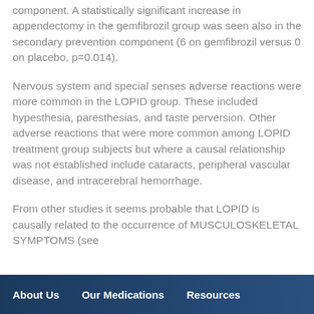component. A statistically significant increase in appendectomy in the gemfibrozil group was seen also in the secondary prevention component (6 on gemfibrozil versus 0 on placebo, p=0.014).
Nervous system and special senses adverse reactions were more common in the LOPID group. These included hypesthesia, paresthesias, and taste perversion. Other adverse reactions that were more common among LOPID treatment group subjects but where a causal relationship was not established include cataracts, peripheral vascular disease, and intracerebral hemorrhage.
From other studies it seems probable that LOPID is causally related to the occurrence of MUSCULOSKELETAL SYMPTOMS (see
About Us   Our Medications   Resources